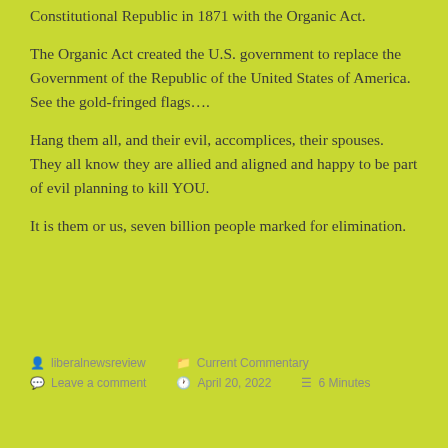Constitutional Republic in 1871 with the Organic Act.
The Organic Act created the U.S. government to replace the Government of the Republic of the United States of America. See the gold-fringed flags….
Hang them all, and their evil, accomplices, their spouses. They all know they are allied and aligned and happy to be part of evil planning to kill YOU.
It is them or us, seven billion people marked for elimination.
liberalnewsreview  Current Commentary  Leave a comment  April 20, 2022  6 Minutes